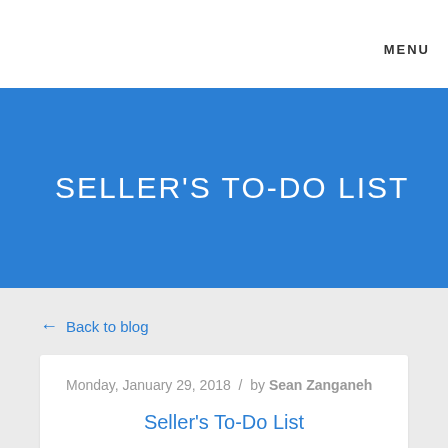MENU
SELLER'S TO-DO LIST
← Back to blog
Monday, January 29, 2018 / by Sean Zanganeh
Seller's To-Do List